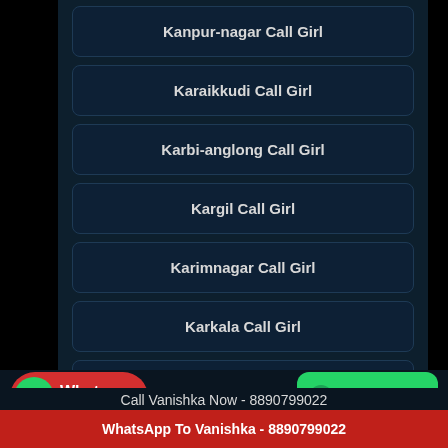Kanpur-nagar Call Girl
Karaikkudi Call Girl
Karbi-anglong Call Girl
Kargil Call Girl
Karimnagar Call Girl
Karkala Call Girl
Karnal Call Girl
Call Vanishka Now - 8890799022
WhatsApp To Vanishka - 8890799022